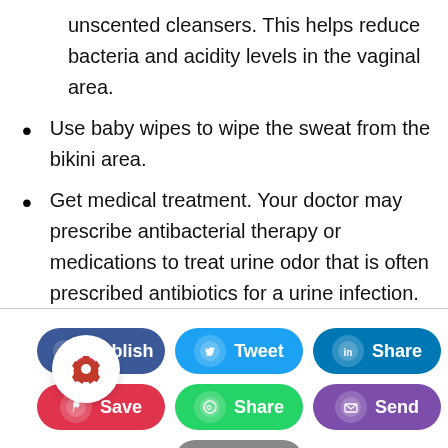unscented cleansers. This helps reduce bacteria and acidity levels in the vaginal area.
Use baby wipes to wipe the sweat from the bikini area.
Get medical treatment. Your doctor may prescribe antibacterial therapy or medications to treat urine odor that is often prescribed antibiotics for a urine infection.
[Figure (screenshot): Social sharing buttons: Publish (Facebook), Tweet (Twitter), Share (LinkedIn), Save (Pinterest/red), Share (WhatsApp), Send (email/purple), Print (gray, partially visible). A settings gear badge overlaps the bottom-left.]